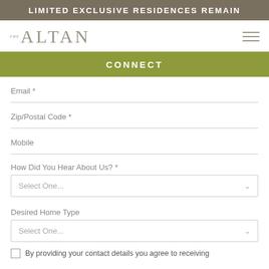LIMITED EXCLUSIVE RESIDENCES REMAIN
[Figure (logo): THE ALTAN logo with hamburger menu icon]
CONNECT
Email *
Zip/Postal Code *
Mobile
How Did You Hear About Us? *
Select One...
Desired Home Type
Select One...
By providing your contact details you agree to receiving